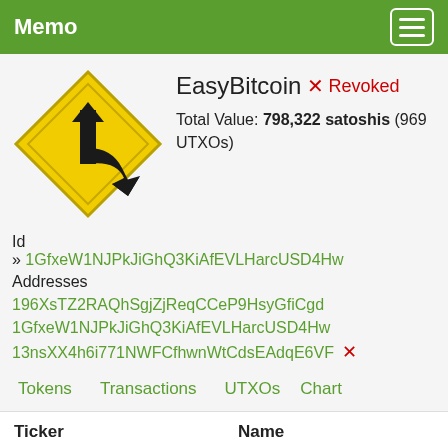Memo
[Figure (illustration): Yellow diamond-shaped road sign with a black arrow indicating a merge or fork to the right]
EasyBitcoin ✕ Revoked
Total Value: 798,322 satoshis (969 UTXOs)
Id
» 1GfxeW1NJPkJiGhQ3KiAfEVLHarcUSD4Hw
Addresses
196XsTZ2RAQhSgjZjReqCCeP9HsyGfiCgd
1GfxeW1NJPkJiGhQ3KiAfEVLHarcUSD4Hw
13nsXX4h6i771NWFCfhwnWtCdsEAdqE6VF ✕
Tokens   Transactions   UTXOs   Chart
| Ticker | Name |
| --- | --- |
| 🔲 🔲 CNY | Yuan chino coin |